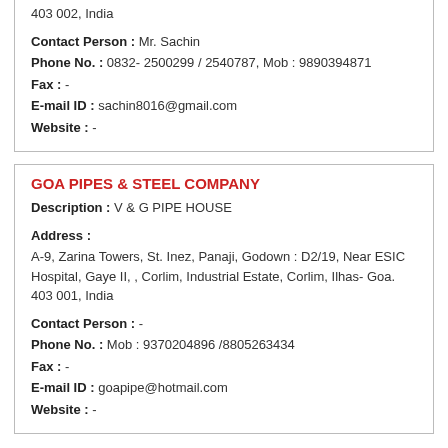403 002, India
Contact Person : Mr. Sachin
Phone No. : 0832- 2500299 / 2540787, Mob : 9890394871
Fax : -
E-mail ID : sachin8016@gmail.com
Website : -
GOA PIPES & STEEL COMPANY
Description : V & G PIPE HOUSE
Address :
A-9, Zarina Towers, St. Inez, Panaji, Godown : D2/19, Near ESIC Hospital, Gaye II, , Corlim, Industrial Estate, Corlim, Ilhas- Goa. 403 001, India
Contact Person : -
Phone No. : Mob : 9370204896 /8805263434
Fax : -
E-mail ID : goapipe@hotmail.com
Website : -